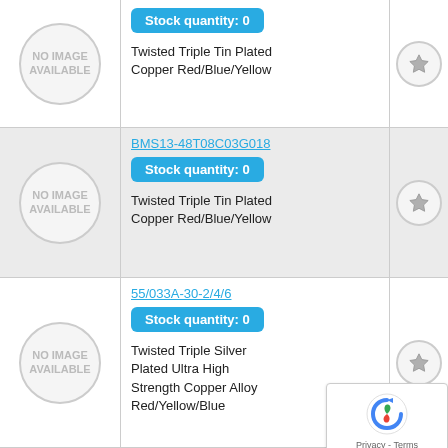[Figure (other): Product row 1: No image available circle placeholder, Stock quantity: 0 badge, product description: Twisted Triple Tin Plated Copper Red/Blue/Yellow, star icon]
[Figure (other): Product row 2: No image available circle placeholder, link BMS13-48T08C03G018, Stock quantity: 0 badge, product description: Twisted Triple Tin Plated Copper Red/Blue/Yellow, star icon]
[Figure (other): Product row 3: No image available circle placeholder, link 55/033A-30-2/4/6, Stock quantity: 0 badge, product description: Twisted Triple Silver Plated Ultra High Strength Copper Alloy Red/Yellow/Blue, star icon]
[Figure (other): Product row 4 partial: No image available circle placeholder, link BMS13-48T08C03G024, partial cyan badge]
[Figure (other): reCAPTCHA privacy overlay in bottom right corner]